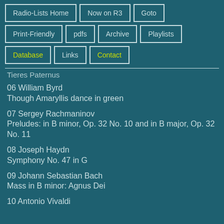Radio-Lists Home | Now on R3 | Goto | Print-Friendly | pdfs | Archive | Playlists | Database | Links | Contact
Tieres Paternus
06 William Byrd
Though Amaryllis dance in green
07 Sergey Rachmaninov
Preludes: in B minor, Op. 32 No. 10 and in B major, Op. 32 No. 11
08 Joseph Haydn
Symphony No. 47 in G
09 Johann Sebastian Bach
Mass in B minor: Agnus Dei
10 Antonio Vivaldi